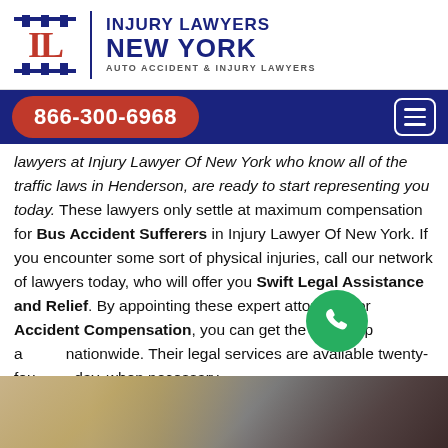[Figure (logo): Injury Lawyers New York logo with IL monogram in red and blue columns design, vertical divider, text reading INJURY LAWYERS NEW YORK, AUTO ACCIDENT & INJURY LAWYERS]
[Figure (screenshot): Navy blue navigation bar with red pill-shaped phone number 866-300-6968 on left and white hamburger menu icon on right]
lawyers at Injury Lawyer Of New York who know all of the traffic laws in Henderson, are ready to start representing you today. These lawyers only settle at maximum compensation for Bus Accident Sufferers in Injury Lawyer Of New York. If you encounter some sort of physical injuries, call our network of lawyers today, who will offer you Swift Legal Assistance and Relief. By appointing these expert attorneys for Accident Compensation, you can get the best help and assistance nationwide. Their legal services are available twenty-four hours a day, when necessary.
[Figure (photo): Bottom strip showing car accident scene photographs]